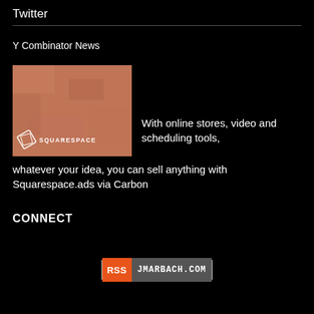Twitter
Y Combinator News
[Figure (logo): Squarespace advertisement with terracotta texture background and Squarespace logo]
With online stores, video and scheduling tools, whatever your idea, you can sell anything with Squarespace.ads via Carbon
CONNECT
[Figure (logo): RSS badge showing JMARBACH.COM]